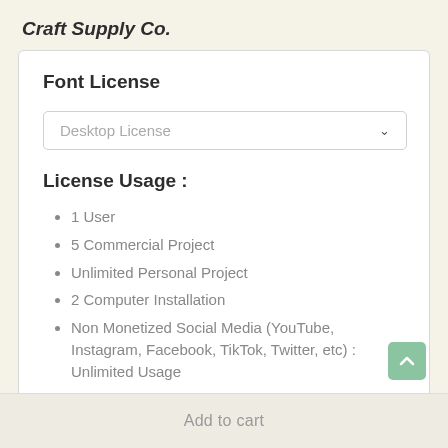Craft Supply Co.
Font License
Desktop License
License Usage :
1 User
5 Commercial Project
Unlimited Personal Project
2 Computer Installation
Non Monetized Social Media (YouTube, Instagram, Facebook, TikTok, Twitter, etc) : Unlimited Usage
Add to cart